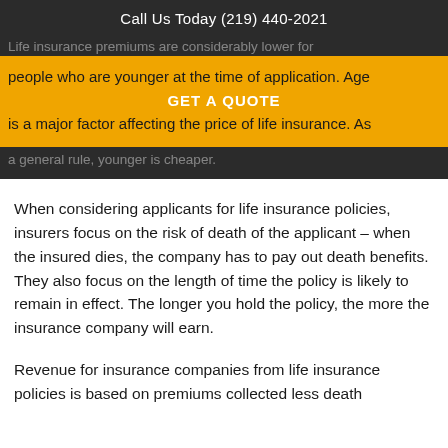Call Us Today (219) 440-2021
Life insurance premiums are considerably lower for people who are younger at the time of application. Age is a major factor affecting the price of life insurance. As a general rule, younger is cheaper.
GET A QUOTE
When considering applicants for life insurance policies, insurers focus on the risk of death of the applicant – when the insured dies, the company has to pay out death benefits. They also focus on the length of time the policy is likely to remain in effect. The longer you hold the policy, the more the insurance company will earn.
Revenue for insurance companies from life insurance policies is based on premiums collected less death